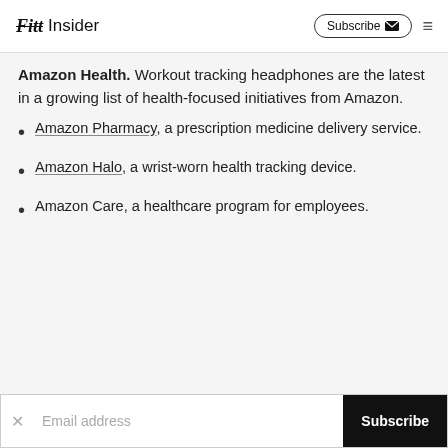Fitt Insider  Subscribe
Amazon Health. Workout tracking headphones are the latest in a growing list of health-focused initiatives from Amazon.
Amazon Pharmacy, a prescription medicine delivery service.
Amazon Halo, a wrist-worn health tracking device.
Amazon Care, a healthcare program for employees.
Email address  Subscribe